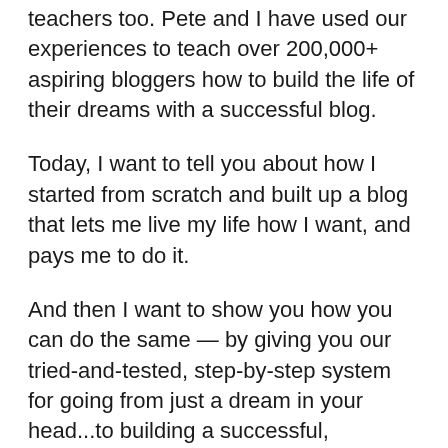teachers too. Pete and I have used our experiences to teach over 200,000+ aspiring bloggers how to build the life of their dreams with a successful blog.
Today, I want to tell you about how I started from scratch and built up a blog that lets me live my life how I want, and pays me to do it.
And then I want to show you how you can do the same — by giving you our tried-and-tested, step-by-step system for going from just a dream in your head...to building a successful, sustainable, and FUN blogging business of your own.
Some of this is stuff I have never shared